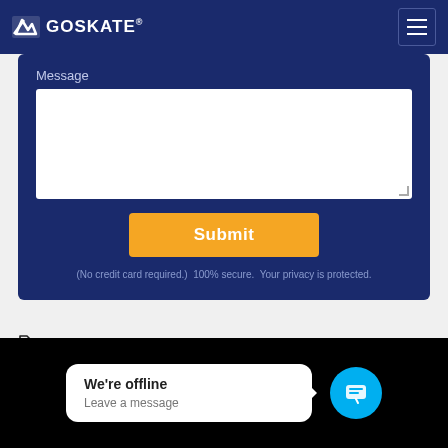GOSKATE
Message
(No credit card required.)  100% secure.  Your privacy is protected.
Dyess Afb, Dyess Afb TX, Skateboard Classes, Skateboarding Lessons, Texas, TX
We're offline
Leave a message